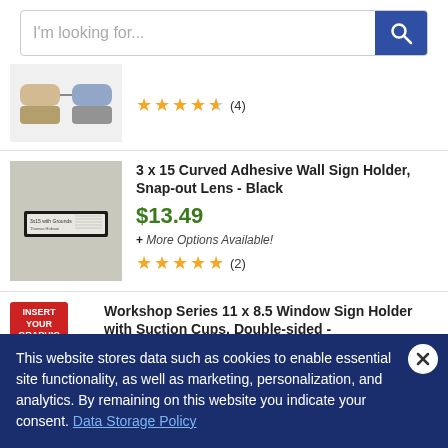[Figure (screenshot): Search bar with placeholder text 'I'm looking for...' and blue search button with magnifier icon]
[Figure (photo): Partial product listing showing sunglasses on a display stand with 4.5 star rating (4 reviews)]
3 x 15 Curved Adhesive Wall Sign Holder, Snap-out Lens - Black
$13.49
+ More Options Available!
[Figure (photo): Product image of 3x15 curved adhesive wall sign holder in black]
Workshop Series 11 x 8.5 Window Sign Holder with Suction Cups, Double-sided -
[Figure (photo): Red badge reading INSERT YOUR GRAPHIC for workshop series product]
This website stores data such as cookies to enable essential site functionality, as well as marketing, personalization, and analytics. By remaining on this website you indicate your consent. Data Storage Policy